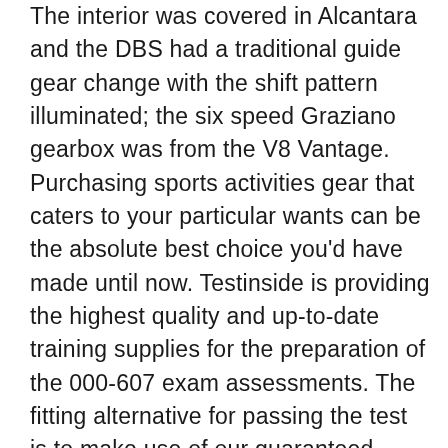The interior was covered in Alcantara and the DBS had a traditional guide gear change with the shift pattern illuminated; the six speed Graziano gearbox was from the V8 Vantage. Purchasing sports activities gear that caters to your particular wants can be the absolute best choice you'd have made until now. Testinside is providing the highest quality and up-to-date training supplies for the preparation of the 000-607 exam assessments. The fitting alternative for passing the test is to make use of our guaranteed material like PrepCram IBM Rational Process and Portfolio Mgmt Tech Sales Mastery v1 updated mind dump and newest Rational Collaborative Lifecycle Management for IT Technical Sales Mastery Test v1 from Cert Killer exam preparation materials for preparation. Like I mentioned, even winning that hand would not provde the tournament, and folding that hand still offers you a preventing chance at 3:1 (one all in from tying it).